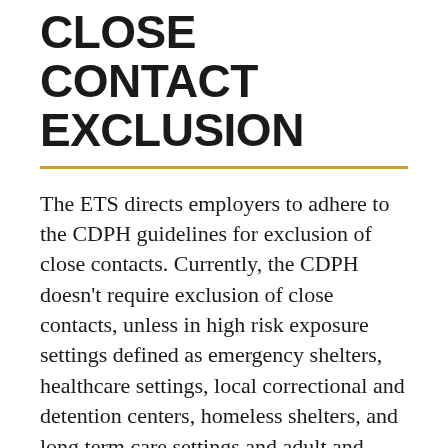CLOSE CONTACT EXCLUSION
The ETS directs employers to adhere to the CDPH guidelines for exclusion of close contacts. Currently, the CDPH doesn't require exclusion of close contacts, unless in high risk exposure settings defined as emergency shelters, healthcare settings, local correctional and detention centers, homeless shelters, and long term care settings and adult and senior care facilities. The CDPH does recommend close contacts be tested within 3-5 days after last exposure. No exclusion is required unless the close contact develops symptoms or tests